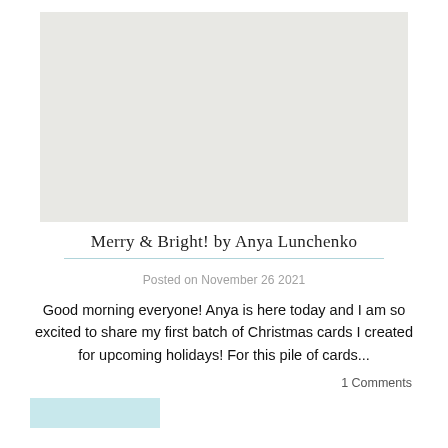[Figure (photo): Light gray image placeholder for a blog post photo]
Merry & Bright! by Anya Lunchenko
Posted on November 26 2021
Good morning everyone! Anya is here today and I am so excited to share my first batch of Christmas cards I created for upcoming holidays! For this pile of cards...
1 Comments
[Figure (photo): Partial thumbnail image at bottom left, light teal color]